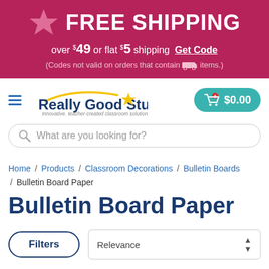[Figure (infographic): Promotional banner with pink star icon and FREE SHIPPING text on dark magenta background. Text: FREE SHIPPING over $49 or flat $5 shipping Get Code (Codes not valid on orders that contain truck items.)]
[Figure (logo): Really Good Stuff logo with yellow shooting star, tagline: Innovative, teacher-created classroom solutions]
[Figure (infographic): Shopping cart button showing $0.00 on teal rounded rectangle background]
What are you looking for?
Home / Products / Classroom Decorations / Bulletin Boards / Bulletin Board Paper
Bulletin Board Paper
Filters
Relevance